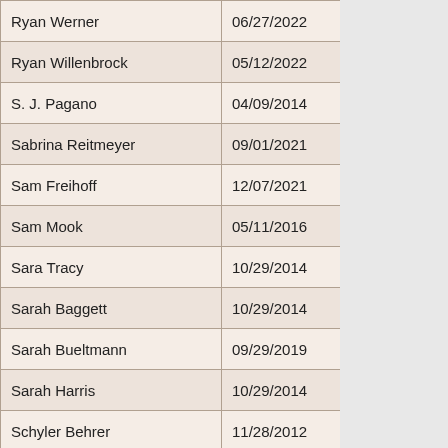| Ryan Werner | 06/27/2022 |
| Ryan Willenbrock | 05/12/2022 |
| S. J. Pagano | 04/09/2014 |
| Sabrina Reitmeyer | 09/01/2021 |
| Sam Freihoff | 12/07/2021 |
| Sam Mook | 05/11/2016 |
| Sara Tracy | 10/29/2014 |
| Sarah Baggett | 10/29/2014 |
| Sarah Bueltmann | 09/29/2019 |
| Sarah Harris | 10/29/2014 |
| Schyler Behrer | 11/28/2012 |
| Scott Lee | 03/14/2018 |
| Scott Morrow | 06/27/2022 |
| Scott Perrin | 03/26/2014 |
| Scott Raiche | 11/07/2012 |
| Sean Behymer | 07/31/2013 |